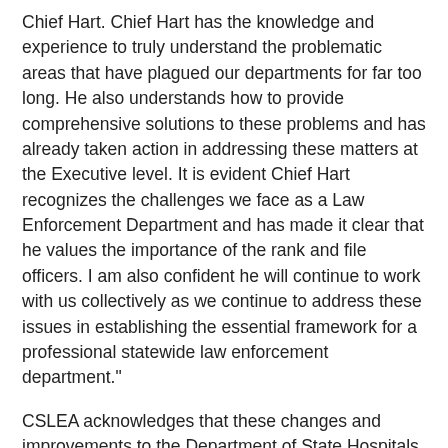Chief Hart.  Chief Hart has the knowledge and experience to truly understand  the problematic areas that have plagued our departments for far too long.  He also understands how to provide comprehensive solutions to these problems and has already taken action in  addressing these matters at the Executive level. It is evident Chief Hart recognizes the challenges we face as a Law Enforcement Department  and has made it clear that he values the importance of the rank and file officers. I am also confident he will continue to work with us collectively as we continue to address these issues in establishing the essential framework for a professional statewide law enforcement department."
CSLEA acknowledges that these changes and improvements to the Department of State Hospitals Law Enforcement may take some time, but CSLEA is encouraged by the steps that the Department and Agency are taking  to make law enforcement a priority.  CSLEA would like to welcome Chief Hart to the Department of State Hospitals and is excited to continue to work with him on addressing officer concerns and improving the services for the Department.